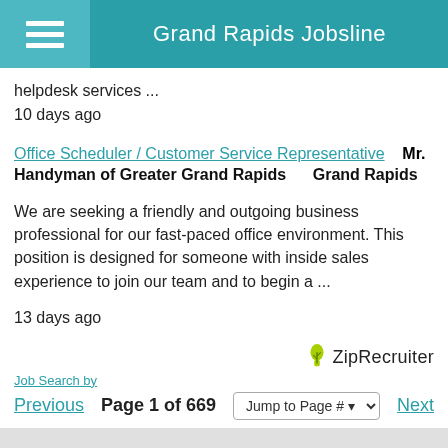Grand Rapids Jobsline
helpdesk services ...
10 days ago
Office Scheduler / Customer Service Representative   Mr. Handyman of Greater Grand Rapids   Grand Rapids
We are seeking a friendly and outgoing business professional for our fast-paced office environment. This position is designed for someone with inside sales experience to join our team and to begin a ...
13 days ago
[Figure (logo): ZipRecruiter logo with green plant icon and text 'ZipRecruiter']
Job Search by ZipRecruiter  Previous  Page 1 of 669  Jump to Page #  Next